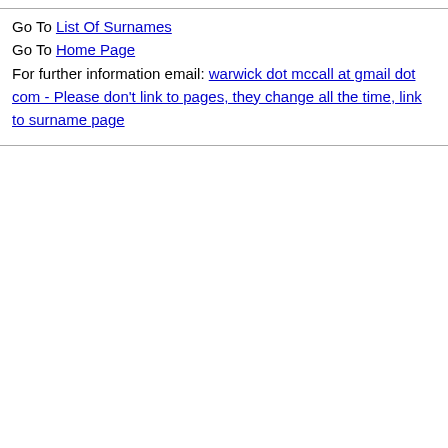Go To List Of Surnames
Go To Home Page
For further information email: warwick dot mccall at gmail dot com - Please don't link to pages, they change all the time, link to surname page